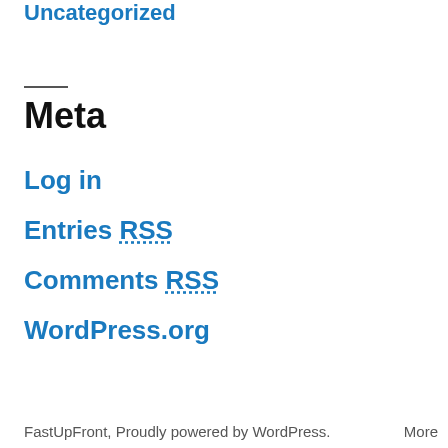Uncategorized
Meta
Log in
Entries RSS
Comments RSS
WordPress.org
FastUpFront, Proudly powered by WordPress.    More